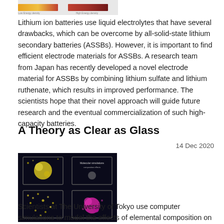[Figure (illustration): Partial view of a battery-related image with colored bar/gradient strips at the top of the page]
Lithium ion batteries use liquid electrolytes that have several drawbacks, which can be overcome by all-solid-state lithium secondary batteries (ASSBs). However, it is important to find efficient electrode materials for ASSBs. A research team from Japan has recently developed a novel electrode material for ASSBs by combining lithium sulfate and lithium ruthenate, which results in improved performance. The scientists hope that their novel approach will guide future research and the eventual commercialization of such high-capacity batteries.
A Theory as Clear as Glass
14 Dec 2020
[Figure (illustration): Dark background image showing molecular/atomic simulation visualizations with yellow and magenta colored clusters in grid-like frames]
Scientists at The University of Tokyo use computer simulations to model the effects of elemental composition on the glass-forming